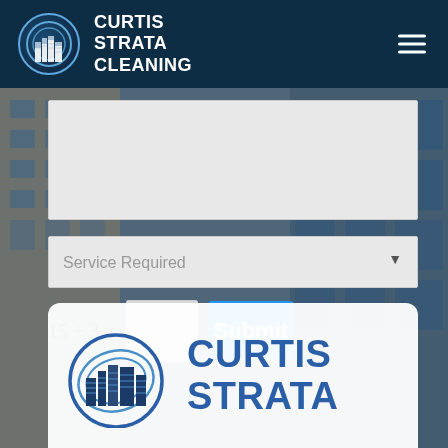[Figure (screenshot): Website screenshot of Curtis Strata Cleaning. Dark navy header with circular logo and hamburger menu. Form with textarea, service dropdown, captcha (15+3=), and blue Submit button. Bottom white card with large logo and brand name CURTIS STRATA.]
CURTIS STRATA CLEANING
Service Required
Submit
CURTIS STRATA